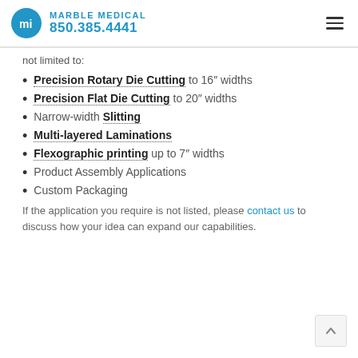Marble Medical 850.385.4441
not limited to:
Precision Rotary Die Cutting to 16" widths
Precision Flat Die Cutting to 20" widths
Narrow-width Slitting
Multi-layered Laminations
Flexographic printing up to 7" widths
Product Assembly Applications
Custom Packaging
If the application you require is not listed, please contact us to discuss how your idea can expand our capabilities.